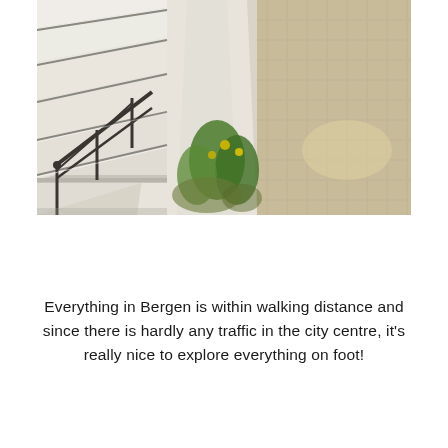[Figure (photo): Outdoor photograph of white-painted stone steps with a dark iron handrail on the left. The staircase runs diagonally. To the right of the steps is a white plastered wall with green plants, moss, and yellow wildflowers growing at its base. Beyond the wall is a cobblestone path.]
Everything in Bergen is within walking distance and since there is hardly any traffic in the city centre, it's really nice to explore everything on foot!